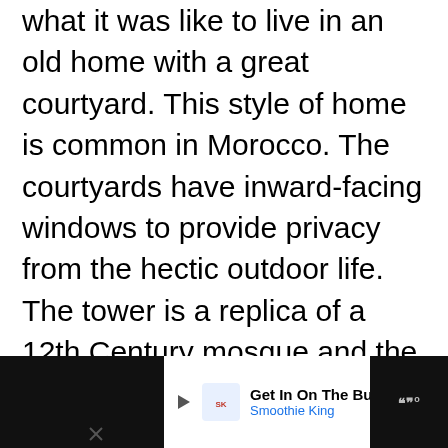what it was like to live in an old home with a great courtyard. This style of home is common in Morocco. The courtyards have inward-facing windows to provide privacy from the hectic outdoor life. The tower is a replica of a 12th Century mosque and the detail all the way down to the tiles used in the mosaic designs is breathtaking. Even the plant life is local to the county. The tiles come directly from Morocco and a special designer was sent to make sure that the designs were laid out properly. You will eventually wander into an old museum with little bits of Moroccan history.
[Figure (other): Advertisement bar at bottom: Smoothie King ad with 'Get In On The Buzz' text, navigation arrow icon, and WW logo on dark background]